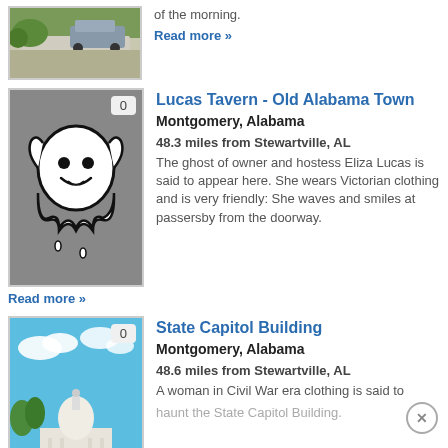[Figure (photo): Photo of a building/parking area with a car, greenery visible at top of page]
of the morning.
Read more »
[Figure (illustration): Ghost illustration (white cartoon ghost with smile on gray background) with badge showing 0]
Lucas Tavern - Old Alabama Town
Montgomery, Alabama
48.3 miles from Stewartville, AL
The ghost of owner and hostess Eliza Lucas is said to appear here. She wears Victorian clothing and is very friendly: She waves and smiles at passersby from the doorway.
Read more »
[Figure (photo): Photo of State Capitol Building with blue sky and clouds, white dome visible]
State Capitol Building
Montgomery, Alabama
48.6 miles from Stewartville, AL
A woman in Civil War era clothing is said to haunt the State Capitol Building.
Read more »